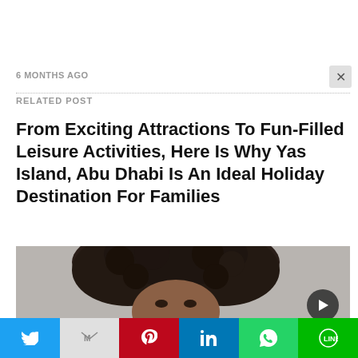6 MONTHS AGO
RELATED POST
From Exciting Attractions To Fun-Filled Leisure Activities, Here Is Why Yas Island, Abu Dhabi Is An Ideal Holiday Destination For Families
[Figure (photo): Cropped photo of a person with curly hair, with a dark play button overlay in the bottom right corner]